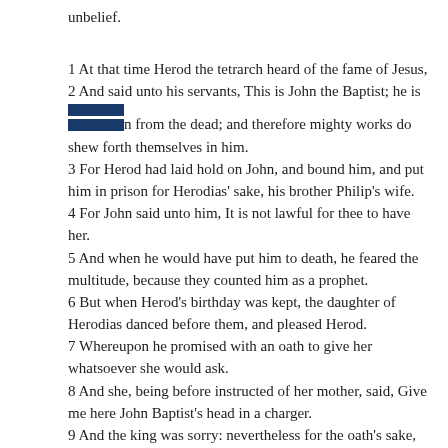unbelief.
1 At that time Herod the tetrarch heard of the fame of Jesus, 2 And said unto his servants, This is John the Baptist; he is [REDACTED] from the dead; and therefore mighty works do shew forth themselves in him. 3 For Herod had laid hold on John, and bound him, and put him in prison for Herodias' sake, his brother Philip's wife. 4 For John said unto him, It is not lawful for thee to have her. 5 And when he would have put him to death, he feared the multitude, because they counted him as a prophet. 6 But when Herod's birthday was kept, the daughter of Herodias danced before them, and pleased Herod. 7 Whereupon he promised with an oath to give her whatsoever she would ask. 8 And she, being before instructed of her mother, said, Give me here John Baptist's head in a charger. 9 And the king was sorry: nevertheless for the oath's sake, and them which sat with him at meat, he commanded it to be given her. 10 And he sent, and beheaded John in the prison. 11 And his head was brought in a charger, and given to the damsel: and she brought it to her mother.